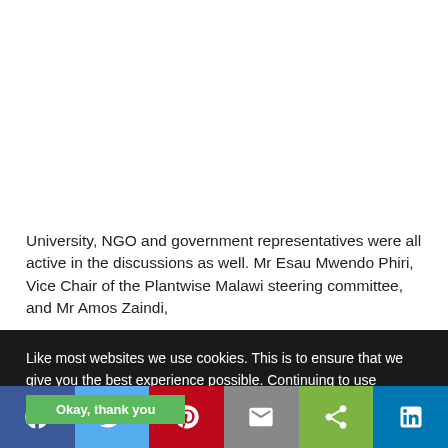University, NGO and government representatives were all active in the discussions as well. Mr Esau Mwendo Phiri, Vice Chair of the Plantwise Malawi steering committee, and Mr Amos Zaindi,
Like most websites we use cookies. This is to ensure that we give you the best experience possible. Continuing to use Plantwise Blog means you agree to our use of cookies. If you would like to, you can learn more about the cookies we use here.